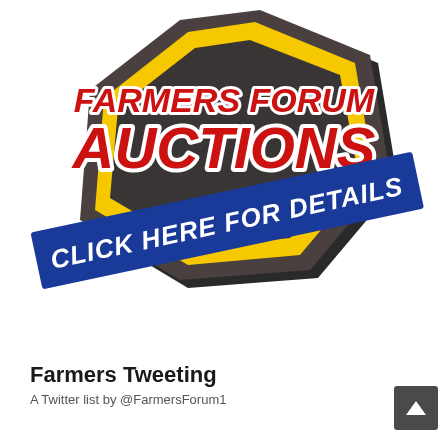[Figure (logo): Farmers Forum Auctions logo: a dark gray hexagonal shield with yellow border, containing bold red text 'FARMERS FORUM' above large red text 'AUCTIONS', overlaid by a diagonal dark blue banner reading 'CLICK HERE FOR DETAILS' in white bold italic text. The shield has a 3D shadowed appearance.]
Farmers Tweeting
A Twitter list by @FarmersForum1